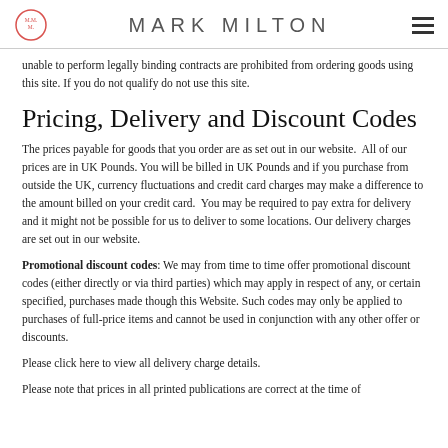MARK MILTON
unable to perform legally binding contracts are prohibited from ordering goods using this site. If you do not qualify do not use this site.
Pricing, Delivery and Discount Codes
The prices payable for goods that you order are as set out in our website. All of our prices are in UK Pounds. You will be billed in UK Pounds and if you purchase from outside the UK, currency fluctuations and credit card charges may make a difference to the amount billed on your credit card. You may be required to pay extra for delivery and it might not be possible for us to deliver to some locations. Our delivery charges are set out in our website.
Promotional discount codes: We may from time to time offer promotional discount codes (either directly or via third parties) which may apply in respect of any, or certain specified, purchases made though this Website. Such codes may only be applied to purchases of full-price items and cannot be used in conjunction with any other offer or discounts.
Please click here to view all delivery charge details.
Please note that prices in all printed publications are correct at the time of publication and we reserve the right to amend them without prior notice.